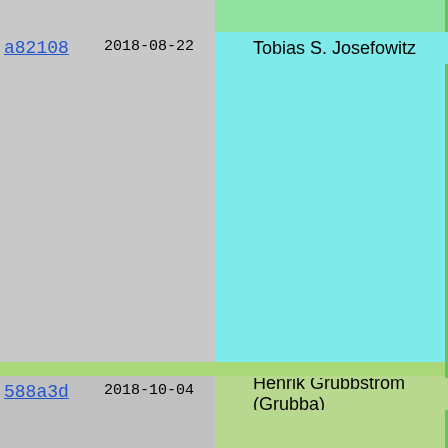| Commit | Date | Author |  | Message |
| --- | --- | --- | --- | --- |
| a82108 | 2018-08-22 | Tobias S. Josefowitz |  | o Protocols

Fix an iss
to request
whole conn
usually fu
closed nor |
| 588a3d | 2018-10-04 | Henrik Grubbström (Grubba) |  | o Protocols

- Added lo

 These ma
 the modu

- Improved

 o The no

 o The ht

 o Header

- The modu

- Improved |